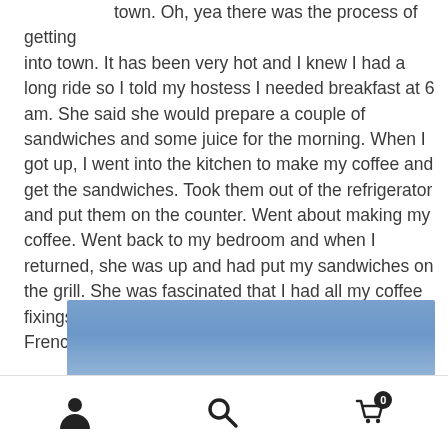town. Oh, yea there was the process of getting into town. It has been very hot and I knew I had a long ride so I told my hostess I needed breakfast at 6 am.  She said she would prepare a couple of sandwiches and some juice for the morning.  When I got up, I went into the kitchen to make my coffee and get the sandwiches.  Took them out of the refrigerator and put them on the counter.  Went about making my coffee.  Went back to my bedroom and when I returned, she was up and had put my sandwiches on the grill.  She was fascinated that I had all my coffee fixings and watched me carefully as I used my French Press.
[Figure (photo): Partial photograph showing a blue sky, cropped at the bottom of the page]
Navigation bar with person/account icon, search icon, and shopping cart icon with badge showing 0